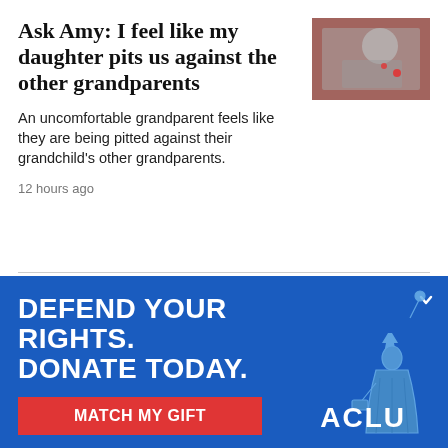Ask Amy: I feel like my daughter pits us against the other grandparents
[Figure (photo): Black and white photo of a person writing at a desk, with red accent color in the background]
An uncomfortable grandparent feels like they are being pitted against their grandchild's other grandparents.
12 hours ago
[Figure (infographic): ACLU advertisement banner with blue background. Text: DEFEND YOUR RIGHTS. DONATE TODAY. Red button: MATCH MY GIFT. ACLU logo. Statue of Liberty graphic on the right.]